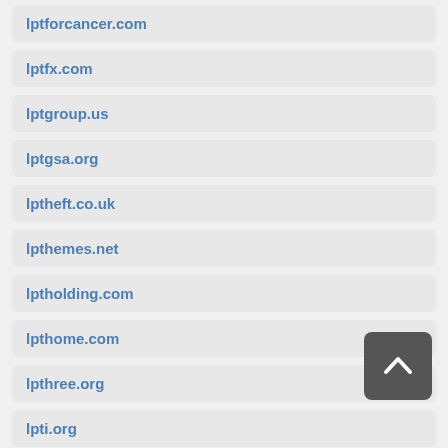lptforcancer.com
lptfx.com
lptgroup.us
lptgsa.org
lptheft.co.uk
lpthemes.net
lptholding.com
lpthome.com
lpthree.org
lpti.org
lptic.net